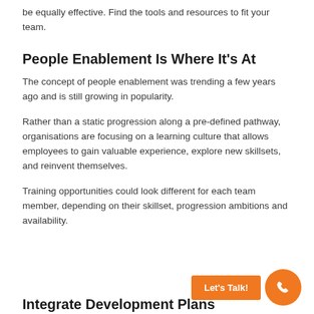be equally effective. Find the tools and resources to fit your team.
People Enablement Is Where It's At
The concept of people enablement was trending a few years ago and is still growing in popularity.
Rather than a static progression along a pre-defined pathway, organisations are focusing on a learning culture that allows employees to gain valuable experience, explore new skillsets, and reinvent themselves.
Training opportunities could look different for each team member, depending on their skillset, progression ambitions and availability.
Integrate Development Plans